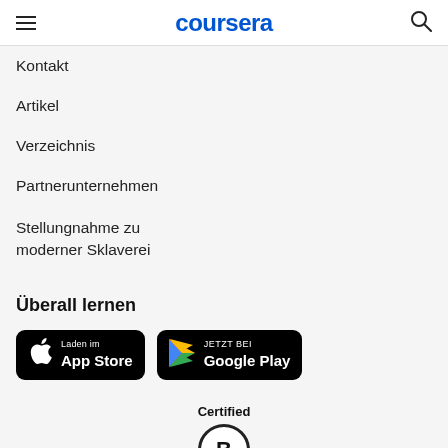coursera
Kontakt
Artikel
Verzeichnis
Partnerunternehmen
Stellungnahme zu moderner Sklaverei
Überall lernen
[Figure (screenshot): App Store badge button with Apple logo, text 'Laden im App Store']
[Figure (screenshot): Google Play badge button with Play triangle logo, text 'JETZT BEI Google Play']
[Figure (logo): Certified B Corporation logo - circle with letter B]